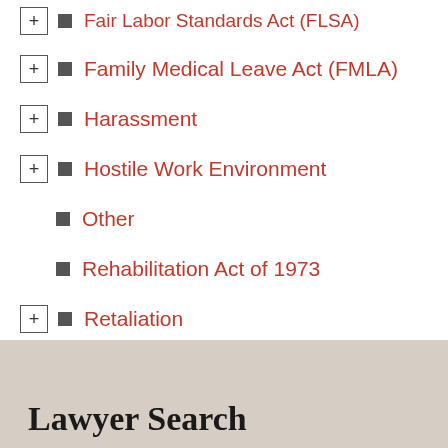Fair Labor Standards Act (FLSA)
Family Medical Leave Act (FMLA)
Harassment
Hostile Work Environment
Other
Rehabilitation Act of 1973
Retaliation
Title VII
Uncategorized
Wrongful Termination
Lawyer Search